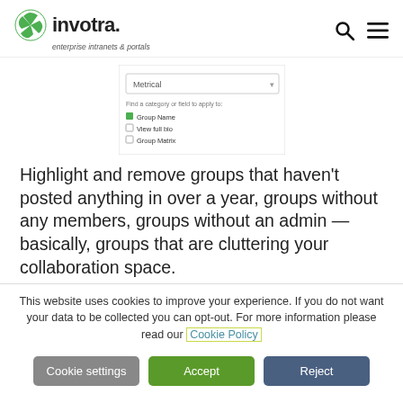[Figure (logo): Invotra logo with green pinwheel icon and text 'invotra.' with tagline 'enterprise intranets & portals']
[Figure (screenshot): Screenshot of a dropdown/checkbox UI panel showing 'Metrics' dropdown and checkboxes for group filter options]
Highlight and remove groups that haven't posted anything in over a year, groups without any members, groups without an admin — basically, groups that are cluttering your collaboration space.
This website uses cookies to improve your experience. If you do not want your data to be collected you can opt-out. For more information please read our Cookie Policy